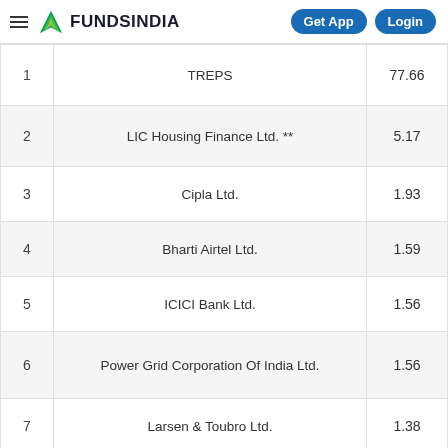FundsIndia — Get App | Login
| # | Name | % |
| --- | --- | --- |
| 1 | TREPS | 77.66 |
| 2 | LIC Housing Finance Ltd. ** | 5.17 |
| 3 | Cipla Ltd. | 1.93 |
| 4 | Bharti Airtel Ltd. | 1.59 |
| 5 | ICICI Bank Ltd. | 1.56 |
| 6 | Power Grid Corporation Of India Ltd. | 1.56 |
| 7 | Larsen & Toubro Ltd. | 1.38 |
| 8 | ITC Ltd. | 1.25 |
| 9 | Hindustan Unilever Ltd. | 1.18 |
| 10 | Ultratech Cement Ltd. | 1.0 |